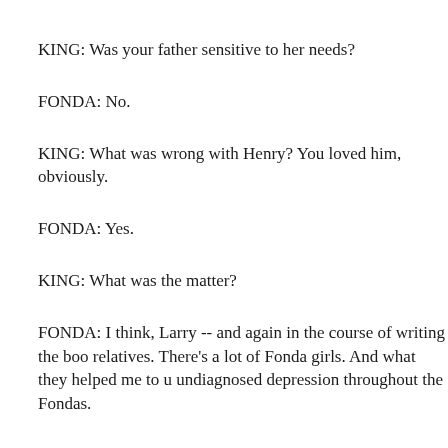KING: Was your father sensitive to her needs?
FONDA: No.
KING: What was wrong with Henry? You loved him, obviously.
FONDA: Yes.
KING: What was the matter?
FONDA: I think, Larry -- and again in the course of writing the boo relatives. There's a lot of Fonda girls. And what they helped me to u undiagnosed depression throughout the Fondas.
KING: And your father had it too?